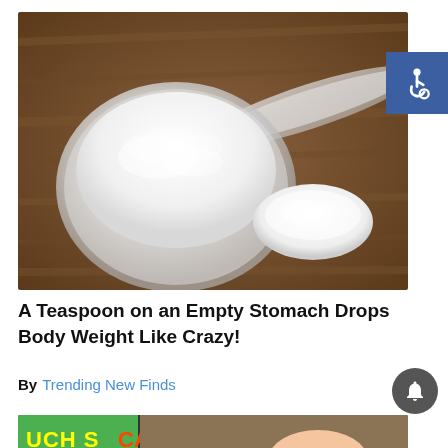[Figure (photo): A clear plastic measuring scoop filled with white powder (protein powder or similar) sitting on a rustic wooden surface, with a small mound of the same white powder spilled beside it.]
A Teaspoon on an Empty Stomach Drops Body Weight Like Crazy!
By Trending New Finds
[Figure (photo): Partial bottom image showing what appears to be a colorful graphic or video thumbnail, partially visible at the bottom of the page.]